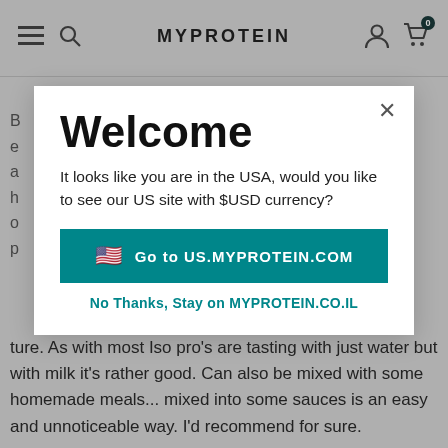MYPROTEIN
[Figure (screenshot): Website modal popup on MYPROTEIN website showing a location redirect dialog. Header navigation with hamburger menu, search icon, MYPROTEIN logo, user icon, and cart icon (0 items). Modal contains: Welcome title, text 'It looks like you are in the USA, would you like to see our US site with $USD currency?', a teal button 'Go to US.MYPROTEIN.COM' with US flag emoji, and a link 'No Thanks, Stay on MYPROTEIN.CO.IL'. Background shows partial review text.]
ture. As with most Iso pro's are tasting with just water but with milk it's rather good. Can also be mixed with some homemade meals... mixed into some sauces is an easy and unnoticeable way. I'd recommend for sure.